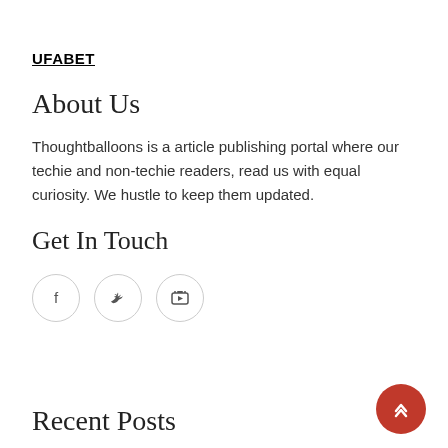UFABET
About Us
Thoughtballoons is a article publishing portal where our techie and non-techie readers, read us with equal curiosity. We hustle to keep them updated.
Get In Touch
[Figure (illustration): Three circular social media icon buttons: Facebook (f), Twitter (bird), YouTube (camera/play icon), arranged horizontally with light gray borders.]
Recent Posts